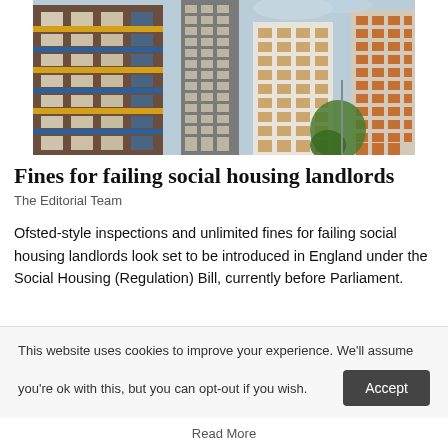[Figure (photo): Photograph of residential social housing apartment tower blocks in England, showing multi-storey buildings with yellow and white facades, balconies, and clear sky in background.]
Fines for failing social housing landlords
The Editorial Team
Ofsted-style inspections and unlimited fines for failing social housing landlords look set to be introduced in England under the Social Housing (Regulation) Bill, currently before Parliament.
This website uses cookies to improve your experience. We'll assume you're ok with this, but you can opt-out if you wish.
Read More